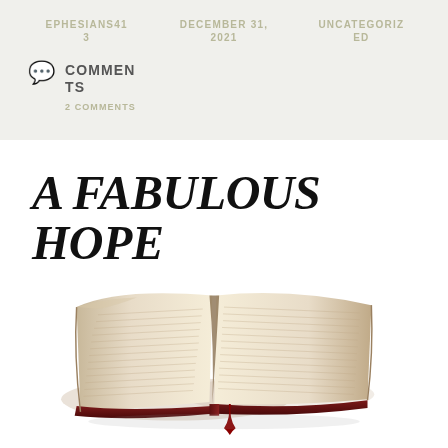EPHESIANS41 3 | DECEMBER 31, 2021 | UNCATEGORIZED
COMMENTS
2 COMMENTS
A FABULOUS HOPE
[Figure (photo): An open Bible with pages spread, red bookmark ribbon hanging down, viewed from above at slight angle against white background]